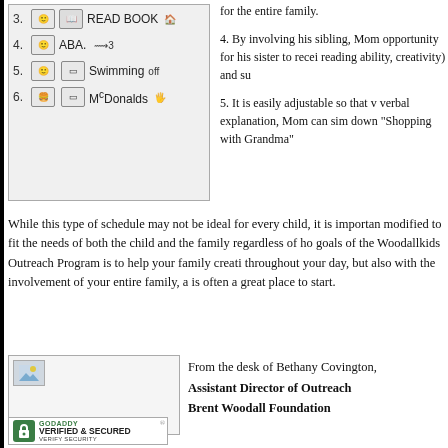[Figure (illustration): Handwritten schedule list showing items 3-6: 3. Read Book, 4. ABA, 5. Swimming, 6. McDonalds, each with small photo/icon on left side]
for the entire family.

4. By involving his sibling, Mom opportunity for his sister to receive reading ability, creativity) and su

5. It is easily adjustable so that v verbal explanation, Mom can sim down “Shopping with Grandma”
While this type of schedule may not be ideal for every child, it is importan modified to fit the needs of both the child and the family regardless of ho goals of the Woodallkids Outreach Program is to help your family creati throughout your day, but also with the involvement of your entire family, a is often a great place to start.
[Figure (photo): Signature image area with broken image icon]
From the desk of Bethany Covington,
Assistant Director of Outreach
Brent Woodall Foundation
[Figure (logo): GoDaddy Verified & Secured badge with green lock icon]